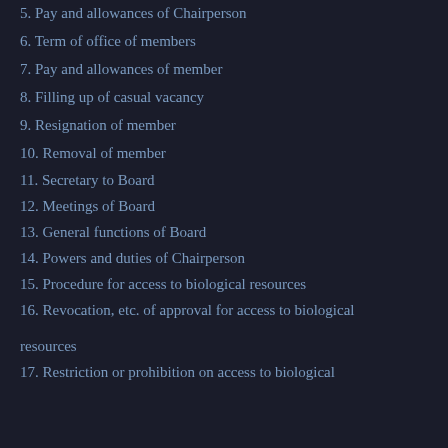5. Pay and allowances of Chairperson
6. Term of office of members
7. Pay and allowances of member
8. Filling up of casual vacancy
9. Resignation of member
10. Removal of member
11. Secretary to Board
12. Meetings of Board
13. General functions of Board
14. Powers and duties of Chairperson
15. Procedure for access to biological resources
16. Revocation, etc. of approval for access to biological resources
17. Restriction or prohibition on access to biological